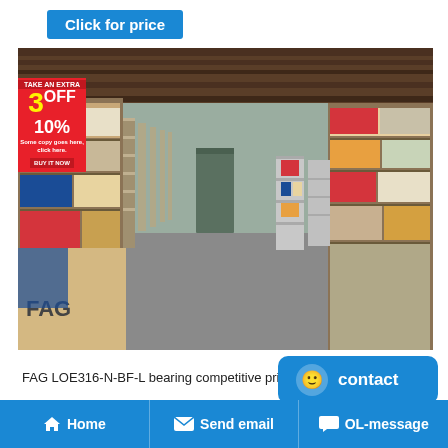Click for price
[Figure (photo): Warehouse interior with long shelving aisles stocked with FAG bearing boxes and industrial parts, wooden ceiling beams, concrete floor]
FAG LOE316-N-BF-L bearing competitive price in UK .
Home   Send email   OL-message